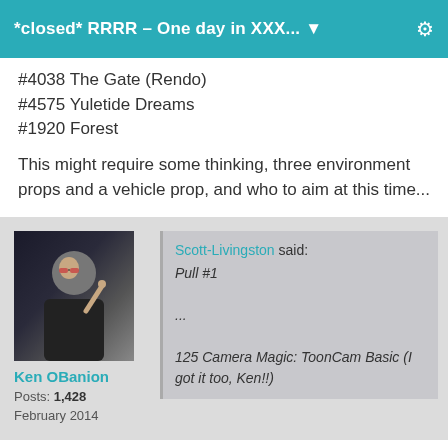*closed* RRRR – One day in XXX... ▼
#4038 The Gate (Rendo)
#4575 Yuletide Dreams
#1920 Forest
This might require some thinking, three environment props and a vehicle prop, and who to aim at this time...
Ken OBanion
Posts: 1,428
February 2014
Scott-Livingston said:
Pull #1

...

125 Camera Magic: ToonCam Basic (I got it too, Ken!!)